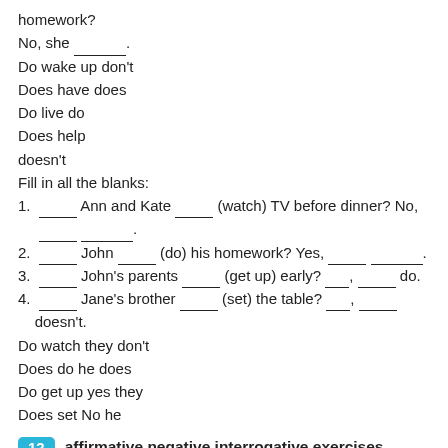homework?
No, she ______.
Do wake up don't
Does have does
Do live do
Does help
doesn't
Fill in all the blanks:
1. _____ Ann and Kate _____ (watch) TV before dinner? No,
_____ _______.
2. _____ John _____ (do) his homework? Yes, _____ _______.
3. _____ John's parents _____ (get up) early? ____, _____ do.
4. _____ Jane's brother _____ (set) the table? ____, _____
doesn't.
Do watch they don't
Does do he does
Do get up yes they
Does set No he
12   affirmative negative interrogative exercises
Think before you click:
1. I _______ (comb) my hair every day. _______ you _______